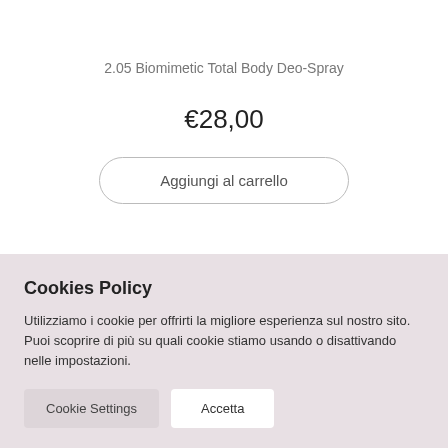2.05 Biomimetic Total Body Deo-Spray
€28,00
Aggiungi al carrello
Cookies Policy
Utilizziamo i cookie per offrirti la migliore esperienza sul nostro sito. Puoi scoprire di più su quali cookie stiamo usando o disattivando nelle impostazioni.
Cookie Settings
Accetta